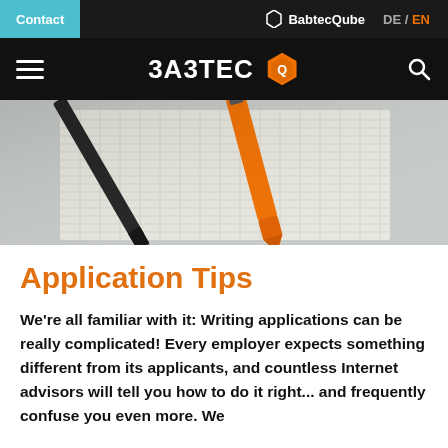Contact | BabtecQube | DE / EN
[Figure (logo): Babtec logo with hexagon icon on black header bar]
[Figure (photo): Close-up photo of a black pen and orange highlighter on grid paper]
Application Tips
We're all familiar with it: Writing applications can be really complicated! Every employer expects something different from its applicants, and countless Internet advisors will tell you how to do it right... and frequently confuse you even more. We